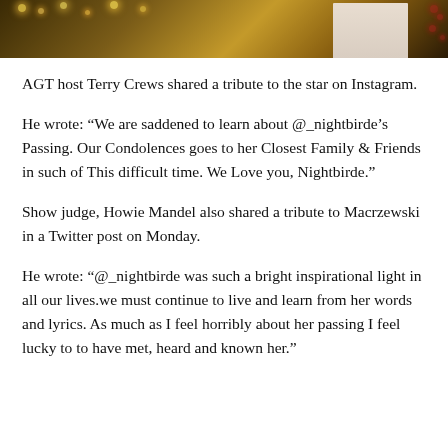[Figure (photo): Partial photo showing a stage or event setting with warm bokeh lights and a figure in white clothing on the right side, cropped at top of page.]
AGT host Terry Crews shared a tribute to the star on Instagram.
He wrote: “We are saddened to learn about @_nightbirde’s Passing. Our Condolences goes to her Closest Family & Friends in such of This difficult time. We Love you, Nightbirde.”
Show judge, Howie Mandel also shared a tribute to Macrzewski in a Twitter post on Monday.
He wrote: “@_nightbirde was such a bright inspirational light in all our lives.we must continue to live and learn from her words and lyrics. As much as I feel horribly about her passing I feel lucky to to have met, heard and known her.”